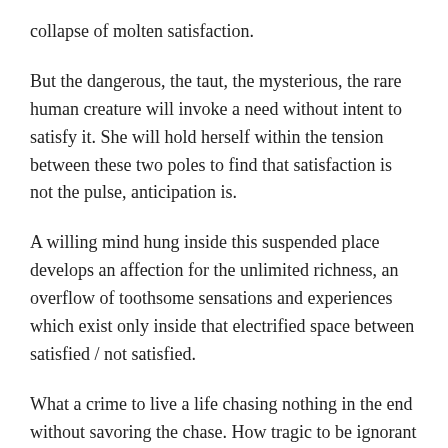collapse of molten satisfaction.
But the dangerous, the taut, the mysterious, the rare human creature will invoke a need without intent to satisfy it. She will hold herself within the tension between these two poles to find that satisfaction is not the pulse, anticipation is.
A willing mind hung inside this suspended place develops an affection for the unlimited richness, an overflow of toothsome sensations and experiences which exist only inside that electrified space between satisfied / not satisfied.
What a crime to live a life chasing nothing in the end without savoring the chase. How tragic to be ignorant to the divine clutches of raw frustration.
That which we deny, denies us.
What mad ecstasy to dangle on a hook, torn between the